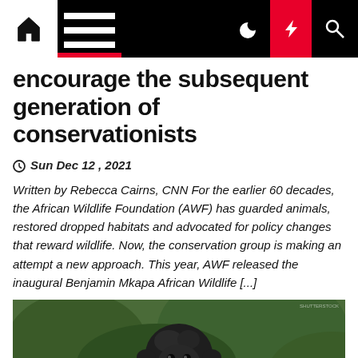Navigation bar with home, menu, dark mode, lightning, and search icons
encourage the subsequent generation of conservationists
Sun Dec 12 , 2021
Written by Rebecca Cairns, CNN For the earlier 60 decades, the African Wildlife Foundation (AWF) has guarded animals, restored dropped habitats and advocated for policy changes that reward wildlife. Now, the conservation group is making an attempt a new approach. This year, AWF released the inaugural Benjamin Mkapa African Wildlife [...]
[Figure (photo): Close-up photo of a dark-furred young gorilla or monkey against a green background]